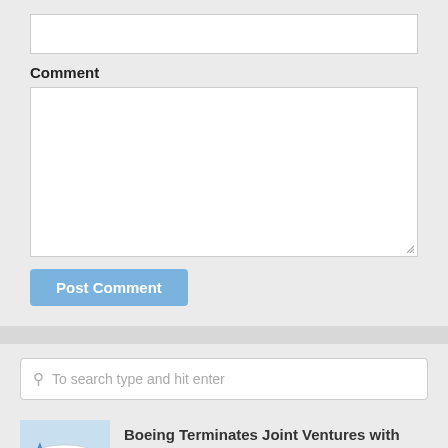(input field - empty)
Comment
(textarea - empty)
Post Comment
To search type and hit enter
Boeing Terminates Joint Ventures with Embraer
[Figure (photo): Airplane on tarmac, light blue sky background]